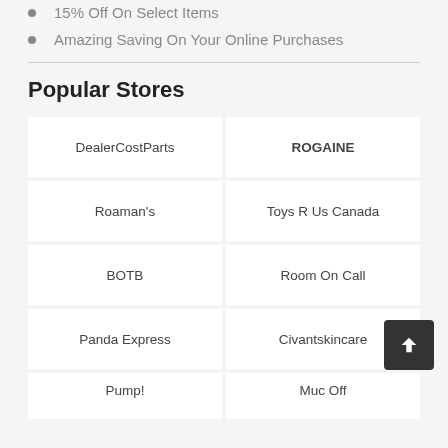15% Off On Select Items
Amazing Saving On Your Online Purchases
Popular Stores
| DealerCostParts | ROGAINE |
| Roaman's | Toys R Us Canada |
| BOTB | Room On Call |
| Panda Express | Civantskincare |
| Pump! | Muc Off |